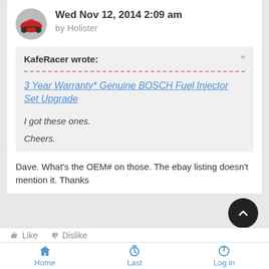Wed Nov 12, 2014 2:09 am by Holister
KafeRacer wrote:
3 Year Warranty* Genuine BOSCH Fuel Injector Set Upgrade
I got these ones.

Cheers.
Dave. What's the OEM# on those. The ebay listing doesn't mention it. Thanks
Home   Last   Log in